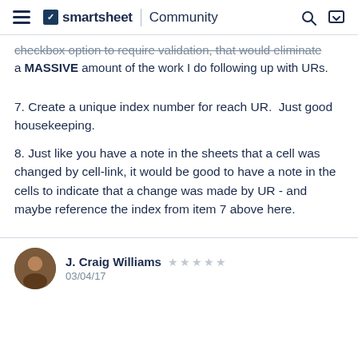smartsheet | Community
checkbox option to require validation, that would eliminate a MASSIVE amount of the work I do following up with URs.
7. Create a unique index number for reach UR.  Just good housekeeping.
8. Just like you have a note in the sheets that a cell was changed by cell-link, it would be good to have a note in the cells to indicate that a change was made by UR - and maybe reference the index from item 7 above here.
J. Craig Williams   03/04/17